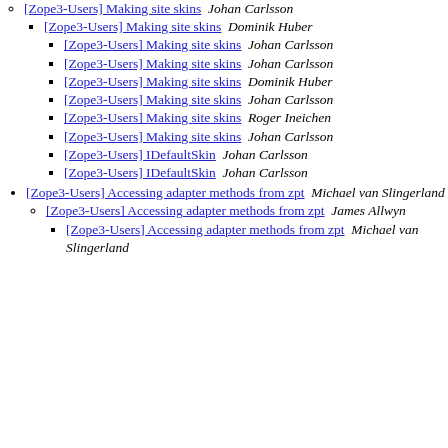[Zope3-Users] Making site skins  Johan Carlsson
[Zope3-Users] Making site skins  Dominik Huber
[Zope3-Users] Making site skins  Johan Carlsson
[Zope3-Users] Making site skins  Johan Carlsson
[Zope3-Users] Making site skins  Dominik Huber
[Zope3-Users] Making site skins  Johan Carlsson
[Zope3-Users] Making site skins  Roger Ineichen
[Zope3-Users] Making site skins  Johan Carlsson
[Zope3-Users] IDefaultSkin  Johan Carlsson
[Zope3-Users] IDefaultSkin  Johan Carlsson
[Zope3-Users] Accessing adapter methods from zpt  Michael van Slingerland
[Zope3-Users] Accessing adapter methods from zpt  James Allwyn
[Zope3-Users] Accessing adapter methods from zpt  Michael van Slingerland